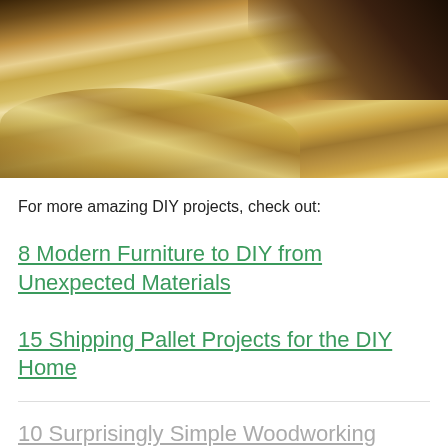[Figure (photo): Close-up photo of a person using a hand plane on a light pine wood board, with wood shavings curling around the tool. Warm golden-brown tones.]
For more amazing DIY projects, check out:
8 Modern Furniture to DIY from Unexpected Materials
15 Shipping Pallet Projects for the DIY Home
10 Surprisingly Simple Woodworking Projects for